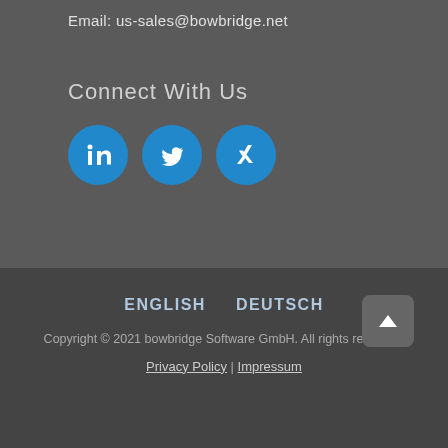Email: us-sales@bowbridge.net
Connect With Us
[Figure (illustration): Three circular social media icons: LinkedIn (in), Twitter (bird), and Xing (x)]
ENGLISH   DEUTSCH
Copyright © 2021 bowbridge Software GmbH. All rights reserved.
Privacy Policy | Impressum